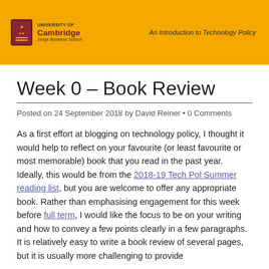University of Cambridge Judge Business School — An Introduction to Technology Policy
Week 0 – Book Review
Posted on 24 September 2018 by David Reiner • 0 Comments
As a first effort at blogging on technology policy, I thought it would help to reflect on your favourite (or least favourite or most memorable) book that you read in the past year. Ideally, this would be from the 2018-19 Tech Pol Summer reading list, but you are welcome to offer any appropriate book. Rather than emphasising engagement for this week before full term, I would like the focus to be on your writing and how to convey a few points clearly in a few paragraphs.  It is relatively easy to write a book review of several pages, but it is usually more challenging to provide